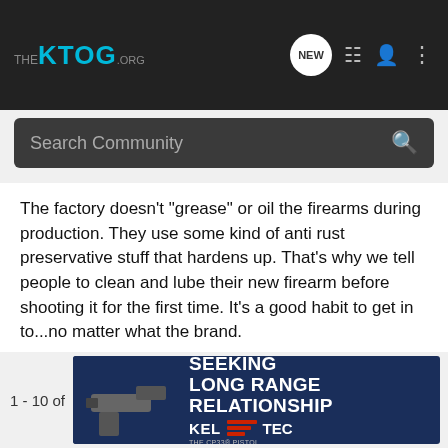THE KTOG.ORG
The factory doesn't "grease" or oil the firearms during production. They use some kind of anti rust preservative stuff that hardens up. That's why we tell people to clean and lube their new firearm before shooting it for the first time. It's a good habit to get in to...no matter what the brand.
Rick
Occupation: Retired
1 - 10 of
[Figure (screenshot): Kel-Tec CP33 pistol advertisement banner: SEEKING LONG RANGE RELATIONSHIP with a pistol image and Kel-Tec logo]